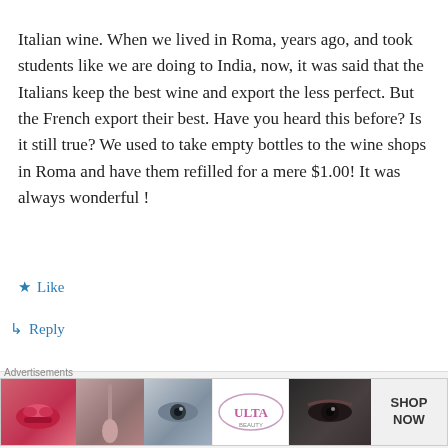Italian wine. When we lived in Roma, years ago, and took students like we are doing to India, now, it was said that the Italians keep the best wine and export the less perfect. But the French export their best. Have you heard this before? Is it still true? We used to take empty bottles to the wine shops in Roma and have them refilled for a mere $1.00! It was always wonderful !
★ Like
↳ Reply
the drunken cyclist on August 15, 2014 at
[Figure (other): Advertisement banner for ULTA Beauty featuring lips, makeup brush, eye makeup, ULTA logo, and eye close-up with SHOP NOW text]